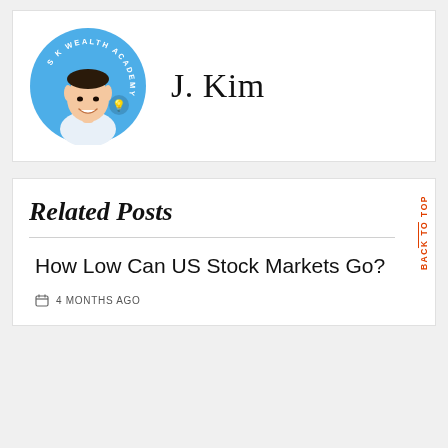[Figure (illustration): Circular avatar with blue background showing an illustrated portrait of J. Kim with 'S K Wealth Academy' text around the circle and a lightbulb icon]
J. Kim
Related Posts
How Low Can US Stock Markets Go?
4 MONTHS AGO